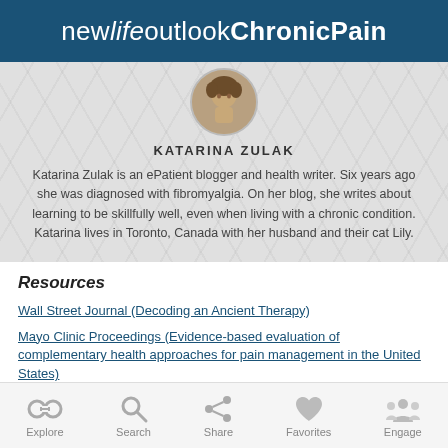new life outlook ChronicPain
[Figure (photo): Circular profile photo of Katarina Zulak]
KATARINA ZULAK
Katarina Zulak is an ePatient blogger and health writer. Six years ago she was diagnosed with fibromyalgia. On her blog, she writes about learning to be skillfully well, even when living with a chronic condition. Katarina lives in Toronto, Canada with her husband and their cat Lily.
Resources
Wall Street Journal (Decoding an Ancient Therapy)
Mayo Clinic Proceedings (Evidence-based evaluation of complementary health approaches for pain management in the United States)
NCCIH (Acupuncture: In-Depth)
Acupuncture in Medicine (Acupuncture for fibromyalgia in primary care: a
[Figure (infographic): Bottom navigation bar with icons: Explore (binoculars), Search (magnifying glass), Share (share icon), Favorites (heart), Engage (people)]